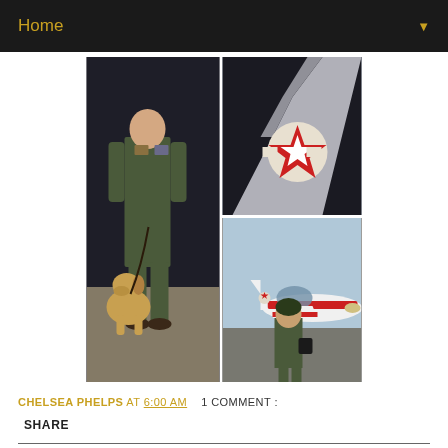Home ▼
[Figure (photo): A collage of three photos: left photo shows a person in a green military flight suit standing with a yellow/tan dog on a leash at night; top-right photo shows a close-up of an aircraft wing tip with a US military roundel insignia; bottom-right photo shows a person in a green flight suit standing in front of a red-and-white military trainer aircraft on a tarmac.]
CHELSEA PHELPS AT 6:00 AM    1 COMMENT :
SHARE
APRIL 8, 2013
Weekend Wrap Up